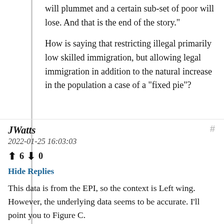will plummet and a certain sub-set of poor will lose. And that is the end of the story."
How is saying that restricting illegal primarily low skilled immigration, but allowing legal immigration in addition to the natural increase in the population a case of a "fixed pie"?
JWatts
2022-01-25 16:03:03
↑ 6 ↓ 0
Hide Replies
This data is from the EPI, so the context is Left wing. However, the underlying data seems to be accurate. I'll point you to Figure C.
It's very clear that the lowest decile has had stagnant wages over the last 40 years. This is significantly below the median wages. Those pushing for higher levels of immigration have never seem to change their mind in the face of new data. Nor